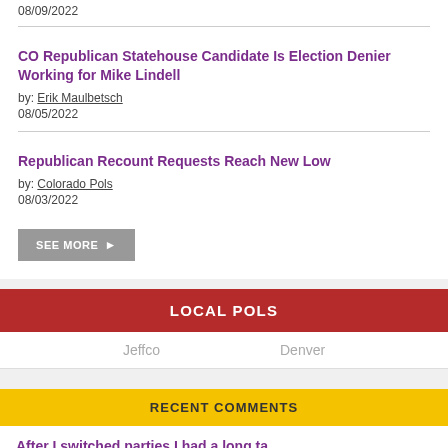08/09/2022
CO Republican Statehouse Candidate Is Election Denier Working for Mike Lindell
by: Erik Maulbetsch
08/05/2022
Republican Recount Requests Reach New Low
by: Colorado Pols
08/03/2022
SEE MORE
LOCAL POLS
Jeffco
Denver
RECENT COMMENTS
After I switched parties I had a long ta...
BY: Voyageur
IN: BREAKING: Sen. Kevin Priola Abandons Republican Party